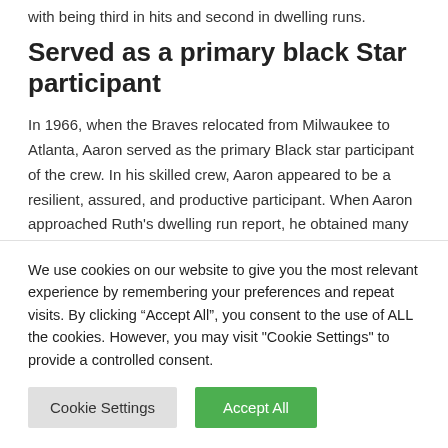with being third in hits and second in dwelling runs.
Served as a primary black Star participant
In 1966, when the Braves relocated from Milwaukee to Atlanta, Aaron served as the primary Black star participant of the crew. In his skilled crew, Aaron appeared to be a resilient, assured, and productive participant. When Aaron approached Ruth's dwelling run report, he obtained many loss of life threats, and
We use cookies on our website to give you the most relevant experience by remembering your preferences and repeat visits. By clicking “Accept All”, you consent to the use of ALL the cookies. However, you may visit "Cookie Settings" to provide a controlled consent.